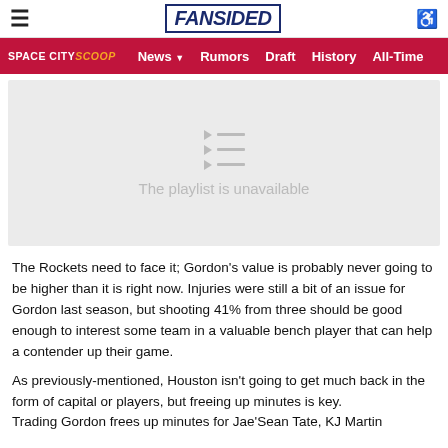FanSided
SPACE CITY SCOOP  News  Rumors  Draft  History  All-Time
[Figure (other): Video player placeholder showing 'The playlist is unavailable' message with playlist icon]
The Rockets need to face it; Gordon's value is probably never going to be higher than it is right now. Injuries were still a bit of an issue for Gordon last season, but shooting 41% from three should be good enough to interest some team in a valuable bench player that can help a contender up their game.
As previously-mentioned, Houston isn't going to get much back in the form of capital or players, but freeing up minutes is key. Trading Gordon frees up minutes for Jae'Sean Tate, KJ Martin...